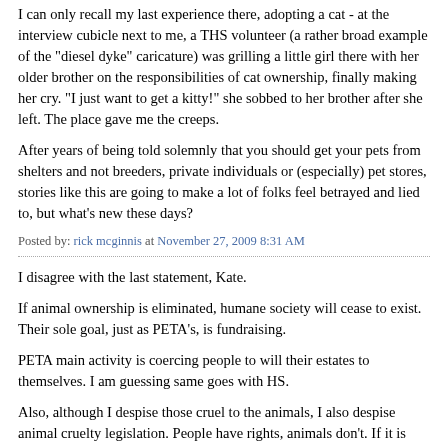I can only recall my last experience there, adopting a cat - at the interview cubicle next to me, a THS volunteer (a rather broad example of the "diesel dyke" caricature) was grilling a little girl there with her older brother on the responsibilities of cat ownership, finally making her cry. "I just want to get a kitty!" she sobbed to her brother after she left. The place gave me the creeps.
After years of being told solemnly that you should get your pets from shelters and not breeders, private individuals or (especially) pet stores, stories like this are going to make a lot of folks feel betrayed and lied to, but what's new these days?
Posted by: rick mcginnis at November 27, 2009 8:31 AM
I disagree with the last statement, Kate.
If animal ownership is eliminated, humane society will cease to exist. Their sole goal, just as PETA's, is fundraising.
PETA main activity is coercing people to will their estates to themselves. I am guessing same goes with HS.
Also, although I despise those cruel to the animals, I also despise animal cruelty legislation. People have rights, animals don't. If it is illegal to be cruel to a cat, dog or hamster, it should also be illegal to hit animals with the vehicles or hunt. Allowing animal cruelty laws we pave...